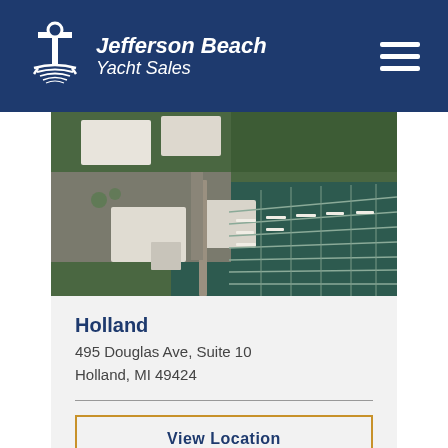[Figure (logo): Jefferson Beach Yacht Sales logo with anchor/boat icon in white on navy blue header]
[Figure (photo): Aerial photograph of a marina with boat docks, boats, and buildings surrounded by water and trees]
Holland
495 Douglas Ave, Suite 10
Holland, MI 49424
View Location
[Figure (photo): Partial aerial photo of marina/boatyard, bottom strip]